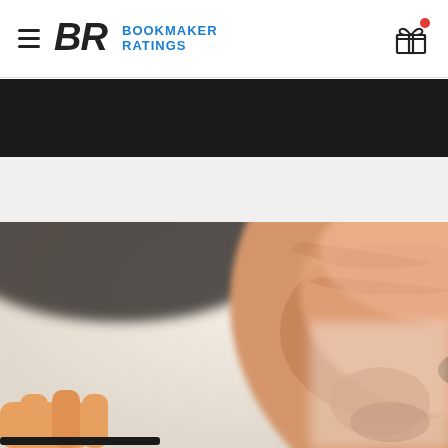Bookmaker Ratings — navigation header with logo and gift icon
[Figure (photo): Close-up photo of an elderly man's face, partially blurred, looking downward. A hand holding a pen is visible at the bottom left.]